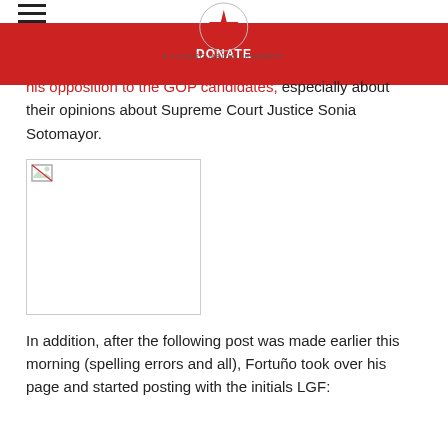A FUTURO MEDIA PROPERTY | DONATE
his opposition to the GOP candidates, especially about their opinions about Supreme Court Justice Sonia Sotomayor.
[Figure (photo): Broken/missing image placeholder]
In addition, after the following post was made earlier this morning (spelling errors and all), Fortuño took over his page and started posting with the initials LGF: